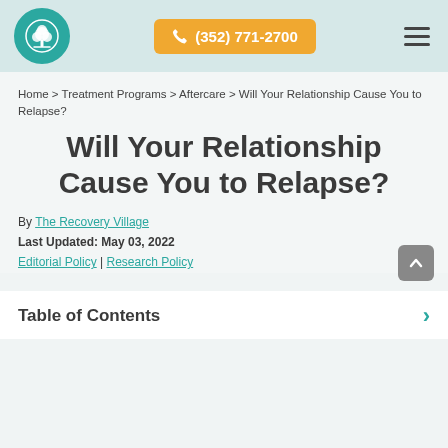(352) 771-2700
Home > Treatment Programs > Aftercare > Will Your Relationship Cause You to Relapse?
Will Your Relationship Cause You to Relapse?
By The Recovery Village
Last Updated: May 03, 2022
Editorial Policy | Research Policy
Table of Contents